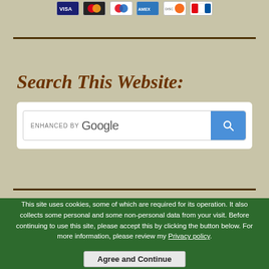[Figure (other): Payment card icons: VISA, Mastercard, Maestro, American Express, Discover, UnionPay]
Search This Website:
[Figure (screenshot): Google enhanced search box with search button]
This site uses cookies, some of which are required for its operation. It also collects some personal and some non-personal data from your visit. Before continuing to use this site, please accept this by clicking the button below. For more information, please review my Privacy policy.
Agree and Continue